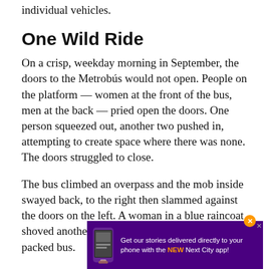individual vehicles.
One Wild Ride
On a crisp, weekday morning in September, the doors to the Metrobús would not open. People on the platform — women at the front of the bus, men at the back — pried open the doors. One person squeezed out, another two pushed in, attempting to create space where there was none. The doors struggled to close.
The bus climbed an overpass and the mob inside swayed back, to the right then slammed against the doors on the left. A woman in a blue raincoat shoved another woman, as a favor, onto the packed bus.
[Figure (infographic): Purple advertisement banner: 'Get our stories delivered directly to your phone with the NEW Next City app!' with a phone graphic and orange close button.]